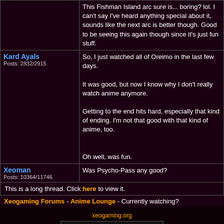This Fishman Island arc sure is... boring? lol. I can't say I've heard anything special about it, sounds like the next arc is better though. Good to be seeing this again though since it's just fun stuff.
Kard Ayals
Posts: 2832/2915
So, I just watched all of Oreimo in the last few days.

It was good, but now I know why I don't really watch anime anymore.

Getting to the end hits hard, especially that kind of ending. I'm not that good with that kind of anime, too.

Oh well, was fun.
Xeoman
Posts: 10364/11746
Was Psycho-Pass any good?
This is a long thread. Click here to view it.
Xeogaming Forums - Anime Lounge - Currently watching?
xeogaming.org
Forum affiliates:
[Figure (logo): Powered by AcmlmBoard logo with colorful text]
AcmlmBoard 1.92++ r4 Baseline
?2000-2013 Acmlm, Emuz, Blades, Xkeeper, DarkSlaya*, Lord Alexandor*
*Unofficial Updates
Page rendered in 0.148 seconds.
0.045